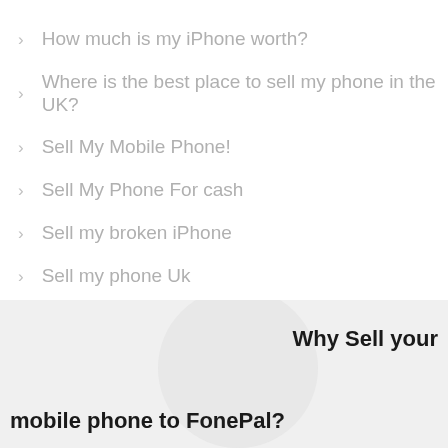How much is my iPhone worth?
Where is the best place to sell my phone in the UK?
Sell My Mobile Phone!
Sell My Phone For cash
Sell my broken iPhone
Sell my phone Uk
Why Sell your mobile phone to FonePal?